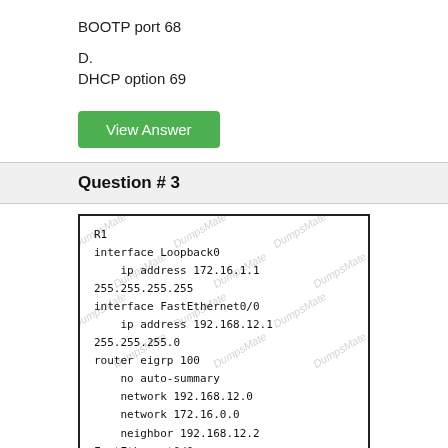BOOTP port 68
D.
DHCP option 69
View Answer
Question # 3
[Figure (screenshot): Router configuration code block showing R1 with interface Loopback0 (ip address 172.16.1.1 255.255.255.255), interface FastEthernet0/0 (ip address 192.168.12.1 255.255.255.0), router eigrp 100 with no auto-summary, network 192.168.12.0, network 172.16.0.0, neighbor 192.168.12.2 FastEthernet0/0, and R2 with interface Loopback0 (partially visible). Has DumpsMate watermark overlay.]